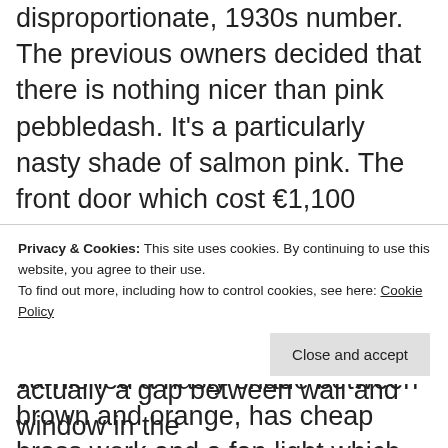disproportionate, 1930s number. The previous owners decided that there is nothing nicer than pink pebbledash. It's a particularly nasty shade of salmon pink. The front door which cost €1,100 (emergency replacement when tenants were in residence and the previous door was broken down with an axe) is utterly vile. It is varnished a nasty shade between brown and orange, has cheap brass work and a fan light which features glass with bumps. I shudder.
Privacy & Cookies: This site uses cookies. By continuing to use this website, you agree to their use. To find out more, including how to control cookies, see here: Cookie Policy
actually a gap between wall and window in the